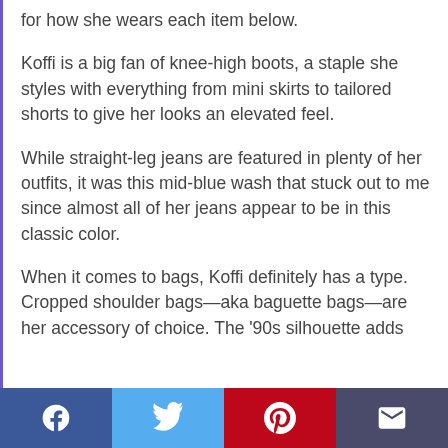for how she wears each item below.
Koffi is a big fan of knee-high boots, a staple she styles with everything from mini skirts to tailored shorts to give her looks an elevated feel.
While straight-leg jeans are featured in plenty of her outfits, it was this mid-blue wash that stuck out to me since almost all of her jeans appear to be in this classic color.
When it comes to bags, Koffi definitely has a type. Cropped shoulder bags—aka baguette bags—are her accessory of choice. The '90s silhouette adds
Facebook | Twitter | Pinterest | Email